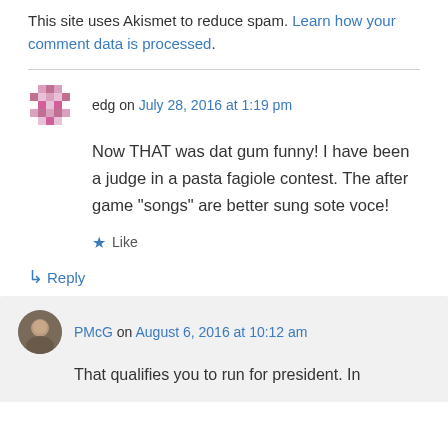This site uses Akismet to reduce spam. Learn how your comment data is processed.
edg on July 28, 2016 at 1:19 pm
Now THAT was dat gum funny! I have been a judge in a pasta fagiole contest. The after game "songs" are better sung sote voce!
★ Like
↳ Reply
PMcG on August 6, 2016 at 10:12 am
That qualifies you to run for president. In